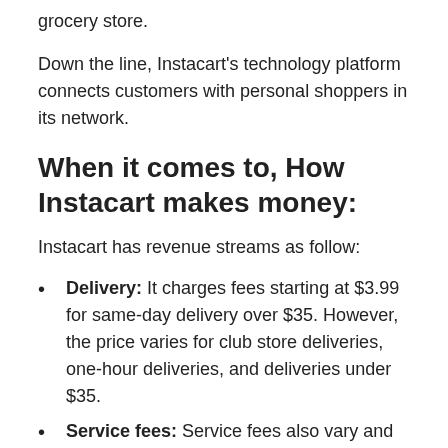grocery store.
Down the line, Instacart's technology platform connects customers with personal shoppers in its network.
When it comes to, How Instacart makes money:
Instacart has revenue streams as follow:
Delivery: It charges fees starting at $3.99 for same-day delivery over $35. However, the price varies for club store deliveries,  one-hour deliveries, and deliveries under $35.
Service fees: Service fees also vary and are